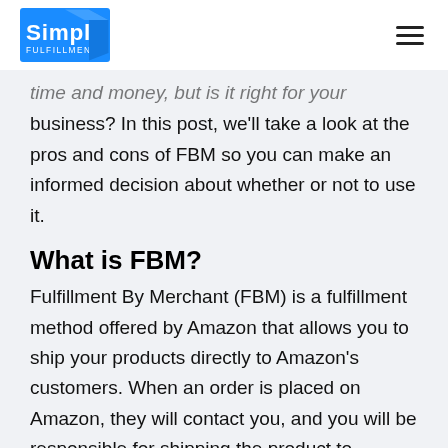Simpl Fulfillment
time and money, but is it right for your business? In this post, we'll take a look at the pros and cons of FBM so you can make an informed decision about whether or not to use it.
What is FBM?
Fulfillment By Merchant (FBM) is a fulfillment method offered by Amazon that allows you to ship your products directly to Amazon's customers. When an order is placed on Amazon, they will contact you, and you will be responsible for shipping the product to